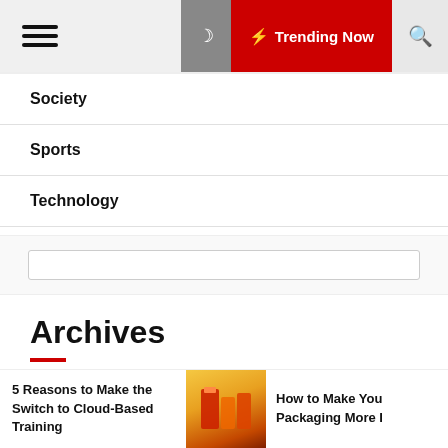Trending Now
Society
Sports
Technology
Archives
August 2022
5 Reasons to Make the Switch to Cloud-Based Training
How to Make You Packaging More I